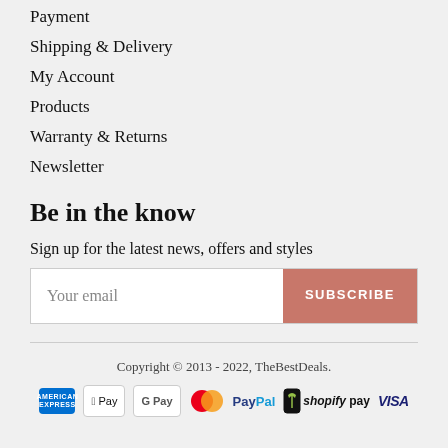Payment
Shipping & Delivery
My Account
Products
Warranty & Returns
Newsletter
Be in the know
Sign up for the latest news, offers and styles
Your email [input] SUBSCRIBE
Copyright © 2013 - 2022, TheBestDeals.
[Figure (other): Payment method icons: American Express, Apple Pay, Google Pay, Mastercard, PayPal, Shopify Pay, Visa]